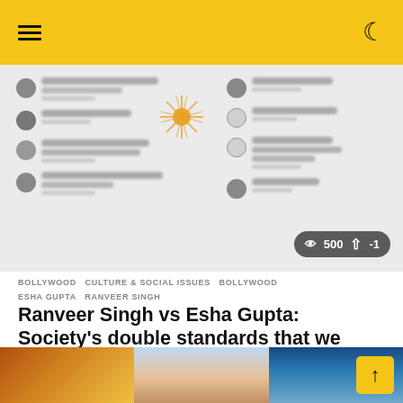[Figure (screenshot): Blurred social media comments screenshot with eye 500 and karma -1 badge]
BOLLYWOOD   CULTURE & SOCIAL ISSUES   BOLLYWOOD   ESHA GUPTA   RANVEER SINGH
Ranveer Singh vs Esha Gupta: Society's double standards that we ought to take note of
₹28.33 ▲
by Varsha Mehata
[Figure (photo): Bottom strip showing three images: fire/orange scene, pink sky/sunset, blue water]
↑ (scroll up button)